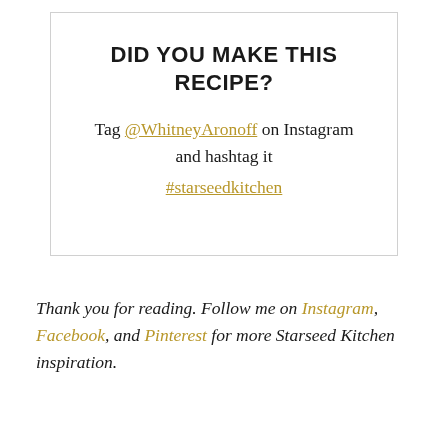DID YOU MAKE THIS RECIPE?
Tag @WhitneyAronoff on Instagram and hashtag it #starseedkitchen
Thank you for reading. Follow me on Instagram, Facebook, and Pinterest for more Starseed Kitchen inspiration.